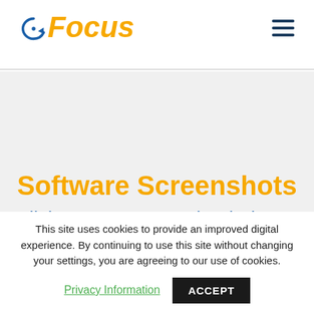[Figure (logo): Focus software logo with circular arrow icon and italic bold orange text reading 'Focus', with a dark blue hamburger menu icon on the right]
Software Screenshots
Click on any screenshot below to enlarge
This site uses cookies to provide an improved digital experience. By continuing to use this site without changing your settings, you are agreeing to our use of cookies.
Privacy Information   ACCEPT